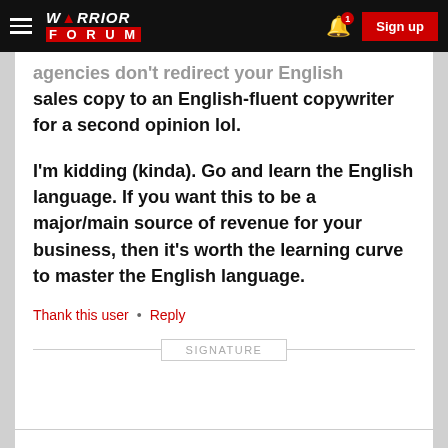WARRIOR FORUM — Sign up
agencies don't redirect your English sales copy to an English-fluent copywriter for a second opinion lol.
I'm kidding (kinda). Go and learn the English language. If you want this to be a major/main source of revenue for your business, then it's worth the learning curve to master the English language.
Thank this user • Reply
SIGNATURE